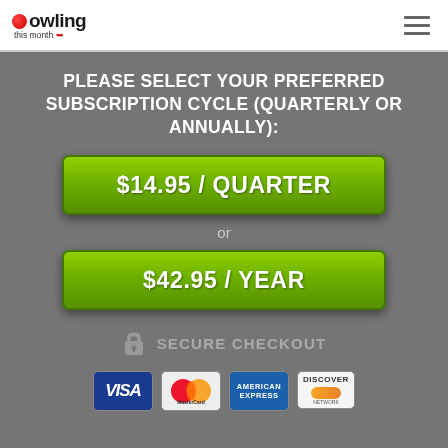Bowling This Month
PLEASE SELECT YOUR PREFERRED SUBSCRIPTION CYCLE (QUARTERLY OR ANNUALLY):
$14.95 / QUARTER
or
$42.95 / YEAR
SECURE CHECKOUT
[Figure (other): Payment method logos: Visa, MasterCard, American Express, Discover]